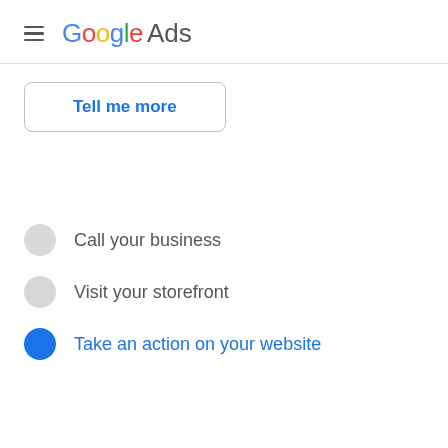Google Ads
Tell me more
Call your business
Visit your storefront
Take an action on your website